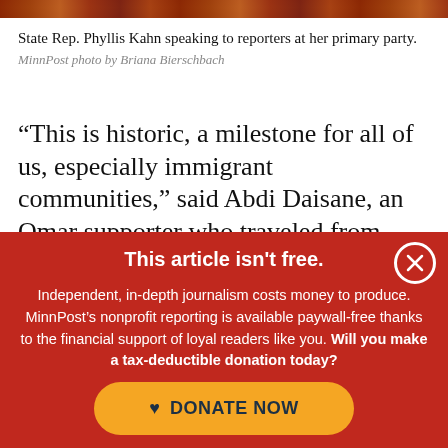[Figure (photo): Photo strip at top of page showing a reddish-brown scene (State Rep. Phyllis Kahn speaking at her primary party)]
State Rep. Phyllis Kahn speaking to reporters at her primary party.
MinnPost photo by Briana Bierschbach
“This is historic, a milestone for all of us, especially immigrant communities,” said Abdi Daisane, an Omar supporter who traveled from
This article isn't free. Independent, in-depth journalism costs money to produce. MinnPost’s nonprofit reporting is available paywall-free thanks to the financial support of loyal readers like you. Will you make a tax-deductible donation today?
DONATE NOW